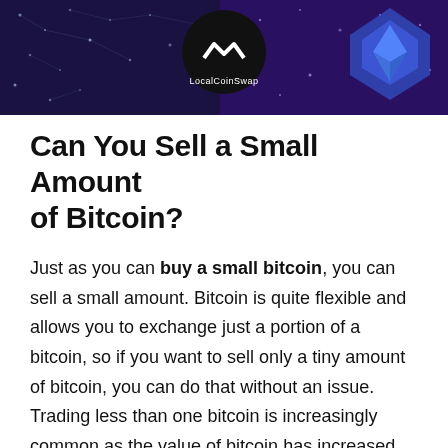[Figure (illustration): LocalCoinSwap banner with dark background, network/constellation graphic on left, blue shield/ethereum logo on right, and LocalCoinSwap logo (mountain/chevron icon) centered with text 'LocalCoinSwap' below it]
Can You Sell a Small Amount of Bitcoin?
Just as you can buy a small bitcoin, you can sell a small amount. Bitcoin is quite flexible and allows you to exchange just a portion of a bitcoin, so if you want to sell only a tiny amount of bitcoin, you can do that without an issue. Trading less than one bitcoin is increasingly common as the value of bitcoin has increased over the years.
If you are going to trade a small amount of bitcoin